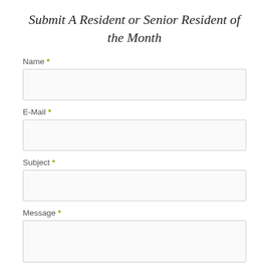Submit A Resident or Senior Resident of the Month
Name *
E-Mail *
Subject *
Message *